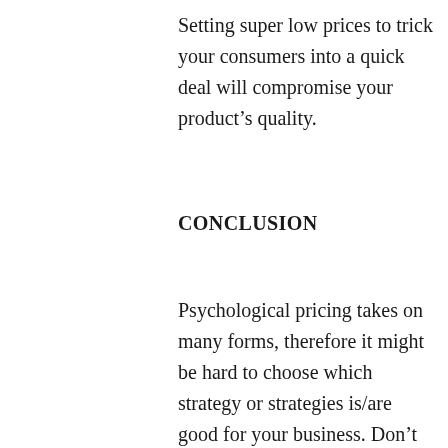Setting super low prices to trick your consumers into a quick deal will compromise your product's quality.
CONCLUSION
Psychological pricing takes on many forms, therefore it might be hard to choose which strategy or strategies is/are good for your business. Don't forget though to consider the psychological pricing strategy advantages and disadvantages.